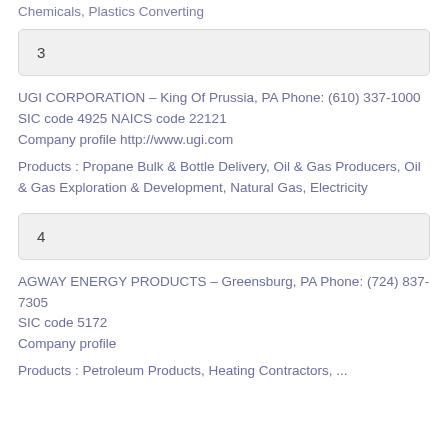Chemicals, Plastics Converting
3
UGI CORPORATION – King Of Prussia, PA Phone: (610) 337-1000
SIC code 4925 NAICS code 22121
Company profile http://www.ugi.com
Products : Propane Bulk & Bottle Delivery, Oil & Gas Producers, Oil & Gas Exploration & Development, Natural Gas, Electricity
4
AGWAY ENERGY PRODUCTS – Greensburg, PA Phone: (724) 837-7305
SIC code 5172
Company profile
Products : Petroleum Products, Heating Contractors, ...